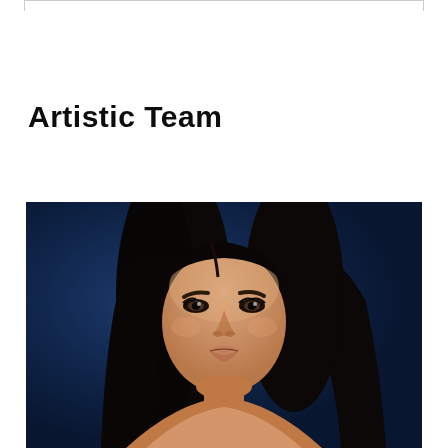Artistic Team
[Figure (photo): Portrait photo of a woman with long dark hair against a dark navy blue background, looking slightly upward and to the side with a subtle expression. She has prominent eyebrows, brown eyes, and light makeup.]